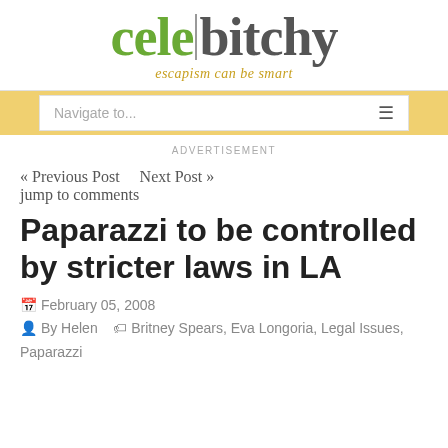celebitchy — escapism can be smart
Navigate to...
ADVERTISEMENT
« Previous Post    Next Post »
jump to comments
Paparazzi to be controlled by stricter laws in LA
February 05, 2008
By Helen   Britney Spears, Eva Longoria, Legal Issues, Paparazzi